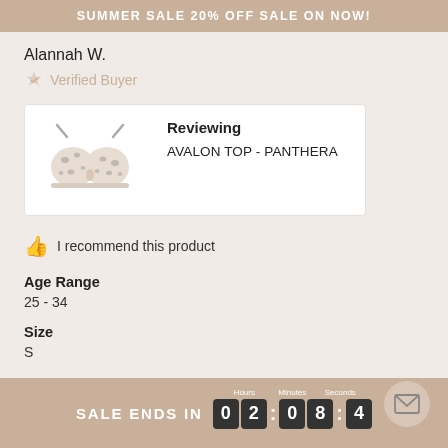SUMMER SALE 20% OFF SALE ON NOW!
Alannah W.
Verified Buyer
Reviewing
AVALON TOP - PANTHERA
[Figure (photo): Product photo of Avalon Top in Panthera (leopard/animal print bikini top)]
I recommend this product
Age Range
25 - 34
Size
S
SALE ENDS IN 02:08:4